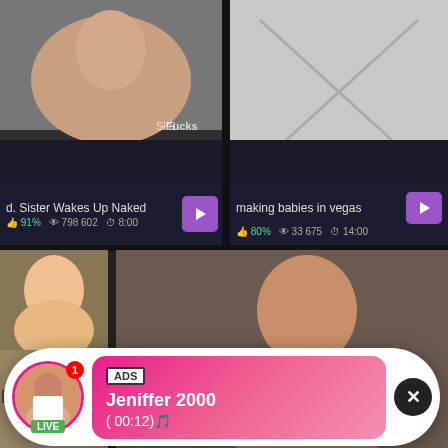[Figure (photo): Video thumbnail showing a person lying down, with watermark text 'Fucks']
[Figure (photo): Broken/missing image placeholder with X mark on grey background]
d. Sister Wakes Up Naked  91%  798 602  8:00
making babies in vegas  80%  33 675  14:00
[Figure (photo): Ad popup overlay with avatar photo of woman, LIVE badge, notification badge, ADS tag, name Jeniffer 2000, time (00:12), pink gradient background, X close button]
ADS
Jeniffer 2000
(00:12)🎵
[Figure (photo): Thumbnail of two women (bottom left area)]
[Figure (photo): Large bottom center video thumbnail showing a woman]
Fan G
99%
WHAT DO YOU WANT?
WATCH
● Online
Cumming, ass fucking, squirt or...
• ADS